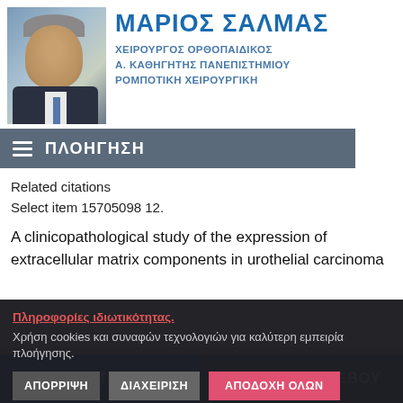[Figure (photo): Portrait photo of Dr. Marios Salmas, a middle-aged man in a suit and tie]
ΜΑΡΙΟΣ ΣΑΛΜΑΣ
ΧΕΙΡΟΥΡΓΟΣ ΟΡΘΟΠΑΙΔΙΚΟΣ
Α. ΚΑΘΗΓΗΤΗΣ ΠΑΝΕΠΙΣΤΗΜΙΟΥ
ΡΟΜΠΟΤΙΚΗ ΧΕΙΡΟΥΡΓΙΚΗ
≡ ΠΛΟΗΓΗΣΗ
Related citations
Select item 15705098 12.
A clinicopathological study of the expression of extracellular matrix components in urothelial carcinoma
Πληροφορίες ιδιωτικότητας.
Χρήση cookies και συναφών τεχνολογιών για καλύτερη εμπειρία πλοήγησης.
ΑΠΟΡΡΙΨΗ   ΔΙΑΧΕΙΡΙΣΗ   ΑΠΟΔΟΧΗ ΟΛΩΝ
Περισσότερα για Όρους Χρήσης και Πολιτική Απορρήτου
ΚΑΛΕΣΤΕ ΜΑΣ   ΚΛΕΙΣΤΕ ΡΑΝΤΕΒΟΥ